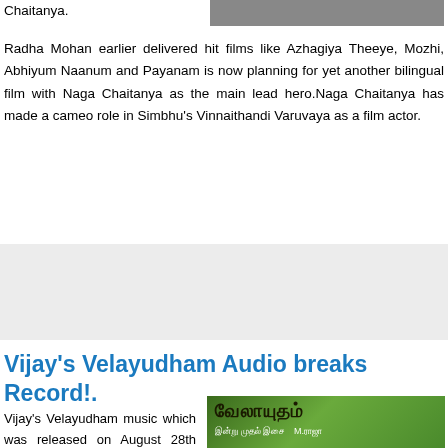Chaitanya.
[Figure (photo): Photo of a person, partially visible at top right]
Radha Mohan earlier delivered hit films like Azhagiya Theeye, Mozhi, Abhiyum Naanum and Payanam is now planning for yet another bilingual film with Naga Chaitanya as the main lead hero.Naga Chaitanya has made a cameo role in Simbhu's Vinnaithandi Varuvaya as a film actor.
[Figure (other): Advertisement block with grey background]
Vijay's Velayudham Audio breaks Record!.
Vijay's Velayudham music which was released on August 28th seems to be receiving huge response from all
[Figure (photo): Velayudham Tamil film music poster with green background and Tamil text]